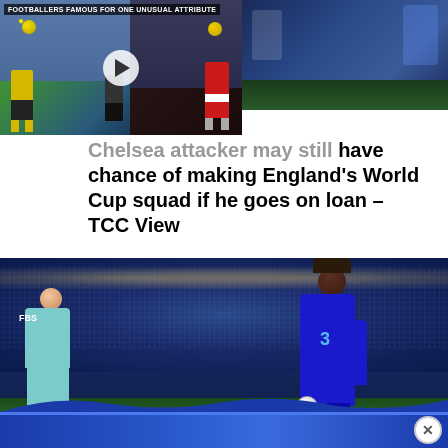[Figure (screenshot): Video thumbnail showing footballers doing tricks — player in yellow kit balancing ball on head on left, player in red and white kit with hands raised on right. White play button in center. Title overlay: 'Footballers Famous For One Unusual Attribute']
[Figure (photo): Partial photo top right — football action with blue kit players and crowd]
Chelsea attacker may still have chance of making England's World Cup squad if he goes on loan – TCC View
[Figure (photo): Chelsea player in blue kit (number 14, wearing sponsored shirt with '3' logo) dribbling ball past Leicester City player in teal FBS-sponsored kit, night match under stadium lights]